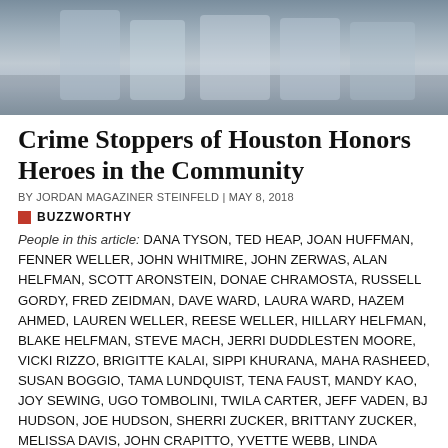[Figure (photo): Group photo of people at an event, shown from waist down, standing together. Photo is cropped to show torsos and partial faces.]
Crime Stoppers of Houston Honors Heroes in the Community
BY JORDAN MAGAZINER STEINFELD | MAY 8, 2018
BUZZWORTHY
People in this article: DANA TYSON, TED HEAP, JOAN HUFFMAN, FENNER WELLER, JOHN WHITMIRE, JOHN ZERWAS, ALAN HELFMAN, SCOTT ARONSTEIN, DONAE CHRAMOSTA, RUSSELL GORDY, FRED ZEIDMAN, DAVE WARD, LAURA WARD, HAZEM AHMED, LAUREN WELLER, REESE WELLER, HILLARY HELFMAN, BLAKE HELFMAN, STEVE MACH, JERRI DUDDLESTEN MOORE, VICKI RIZZO, BRIGITTE KALAI, SIPPI KHURANA, MAHA RASHEED, SUSAN BOGGIO, TAMA LUNDQUIST, TENA FAUST, MANDY KAO, JOY SEWING, UGO TOMBOLINI, TWILA CARTER, JEFF VADEN, BJ HUDSON, JOE HUDSON, SHERRI ZUCKER, BRITTANY ZUCKER, MELISSA DAVIS, JOHN CRAPITTO, YVETTE WEBB, LINDA ADKINS, AUSTIN ARCENEAUX, JACQUI BALY, RANIA MANKARIOUS, BOB NOWAK, GEORGE BEUNIK, ELLEN COKINOS, JANE LEVERETT, PAD MEDORS, OYA FREED, ELVA AKIN, JULIE APPLEWHITE, RINA O'MALLEY, MICHELLE SACKS, JEANIE SWEET, MARIA MORALES, MICHAEL HOFFMAN, CABELL WOOD, TANIA CRUZ, JONI HOFFMAN, JORDAN MAGAZINER STEINFELD, BELLA CHRAMOSTA, ROB CHRAMOSTA, MICHELLE